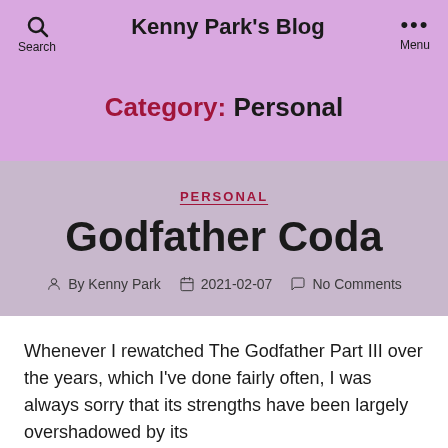Kenny Park's Blog
Category: Personal
PERSONAL
Godfather Coda
By Kenny Park   2021-02-07   No Comments
Whenever I rewatched The Godfather Part III over the years, which I've done fairly often, I was always sorry that its strengths have been largely overshadowed by its